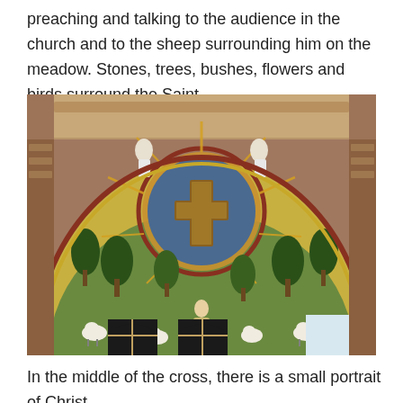preaching and talking to the audience in the church and to the sheep surrounding him on the meadow. Stones, trees, bushes, flowers and birds surround the Saint.
[Figure (photo): A Byzantine mosaic covering an apse dome in a church. The central feature is a large gold medallion with a blue circular background containing a prominent golden cross. Radiating golden rays extend outward from the medallion. Below the cross stands a robed figure (Saint) with arms outstretched, surrounded by sheep, trees, bushes, and flowers in a green meadow landscape. Two white-robed angels flank the top of the arch. The mosaic borders include decorative patterns. Arched windows are visible at the bottom.]
In the middle of the cross, there is a small portrait of Christ.